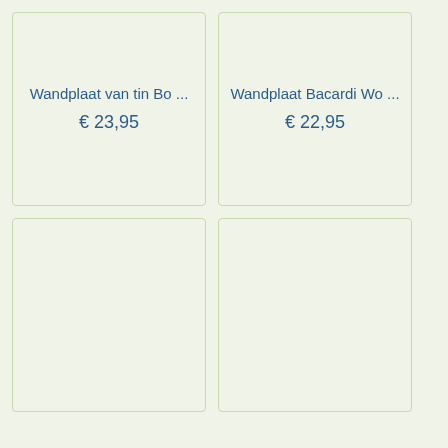Wandplaat van tin Bo ...
€ 23,95
Wandplaat Bacardi Wo ...
€ 22,95
[Figure (other): Empty product card placeholder, bottom left]
[Figure (other): Empty product card placeholder, bottom right]